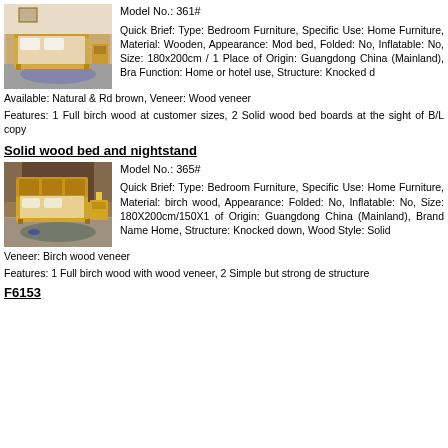Model No.: 361#
Quick Brief: Type: Bedroom Furniture, Specific Use: Home Furniture, Material: Wooden, Appearance: Mod bed, Folded: No, Inflatable: No, Size: 180x200cm / 1 Place of Origin: Guangdong China (Mainland), Bra Function: Home or hotel use, Structure: Knocked Available: Natural & Rd brown, Veneer: Wood veneer
[Figure (photo): Photo of a wooden bed in a bedroom setting, light pine/birch color]
Features: 1 Full birch wood at customer sizes, 2 Solid wood bed boards at the sight of B/L copy
Solid wood bed and nightstand
Model No.: 365#
Quick Brief: Type: Bedroom Furniture, Specific Use: Home Furniture, Material: birch wood, Appearance: Folded: No, Inflatable: No, Size: 180X200cm/150X1 of Origin: Guangdong China (Mainland), Brand Name Home, Structure: Knocked down, Wood Style: Solid Veneer: Birch wood veneer
[Figure (photo): Photo of a solid wood bed with nightstand, warm yellow wood tone]
Features: 1 Full birch wood with wood veneer, 2 Simple but strong de structure
F6153